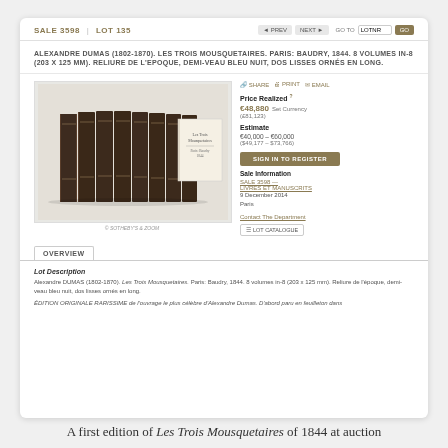SALE 3598 | LOT 135
ALEXANDRE DUMAS (1802-1870). LES TROIS MOUSQUETAIRES. PARIS: BAUDRY, 1844. 8 VOLUMES IN-8 (203 X 125 MM). RELIURE DE L'EPOQUE, DEMI-VEAU BLEU NUIT, DOS LISSES ORNÉS EN LONG.
[Figure (photo): Photograph of 8 bound volumes of Les Trois Mousquetaires with dark brown bindings, spines visible, alongside an open volume showing a title page]
Price Realized
€48,880  Set Currency
(£81,123)
Estimate
€40,000 – €60,000
($49,177 – $73,766)
SIGN IN TO REGISTER
Sale Information
SALE 3598 —
LIVRES ET MANUSCRITS
9 December 2014
Paris
Contact The Department
LOT CATALOGUE
OVERVIEW
Lot Description
Alexandre DUMAS (1802-1870). Les Trois Mousquetaires. Paris: Baudry, 1844. 8 volumes in-8 (203 x 125 mm). Reliure de l'époque, demi-veau bleu nuit, dos lisses ornés en long.
ÉDITION ORIGINALE RARISSIME de l'ouvrage le plus célèbre d'Alexandre Dumas. D'abord paru en feuilleton dans
A first edition of Les Trois Mousquetaires of 1844 at auction